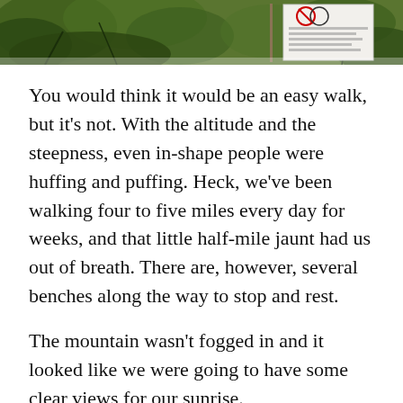[Figure (photo): Outdoor nature scene at the top of the page showing green foliage and a park/trail sign with icons, partially visible at top of page.]
You would think it would be an easy walk, but it's not. With the altitude and the steepness, even in-shape people were huffing and puffing. Heck, we've been walking four to five miles every day for weeks, and that little half-mile jaunt had us out of breath. There are, however, several benches along the way to stop and rest.
The mountain wasn't fogged in and it looked like we were going to have some clear views for our sunrise.